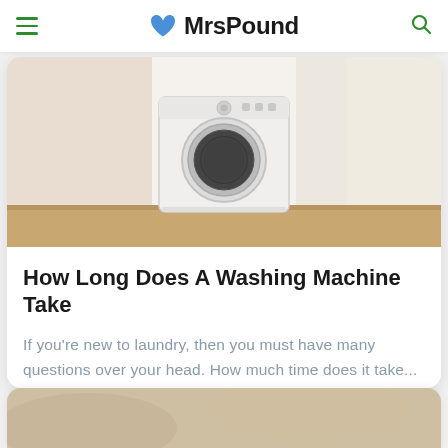MrsPound
[Figure (photo): Washing machine in a bright laundry room with wooden floor and white walls]
How Long Does A Washing Machine Take
If you're new to laundry, then you must have many questions over your head. How much time does it take...
[Figure (photo): Partial view of another article image at the bottom of the page]